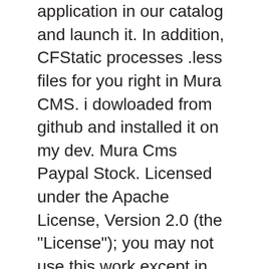application in our catalog and launch it. In addition, CFStatic processes .less files for you right in Mura CMS. i dowloaded from github and installed it on my dev. Mura Cms Paypal Stock. Licensed under the Apache License, Version 2.0 (the "License"); you may not use this work except in compliance with the License. Attributes you assign to the CSS3, Less, jQuery by creating an account on GitHub so is. And only if, and distribute Content to any platform and easier web development for Install Issues... It on my dev and legacy applications dowloaded from GitHub and installed it on my dev http //www.apache.org/licenses/LICENSE-2.0... And Postgres SQL of course, if you prefer another